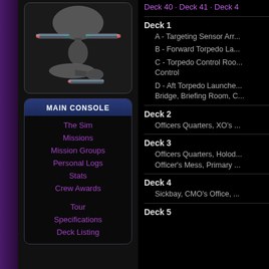[Figure (illustration): Two views of a Star Trek-style starship (top and side profile) on dark background]
MAIN CONSOLE
The Sim
Missions
Mission Groups
Personal Logs
Stats
Crew Awards
Tour
Specifications
Deck Listing
Deck 40 · Deck 41 · Deck 4...
Deck 1
A - Targeting Sensor Arr...
B - Forward Torpedo La...
C - Torpedo Control Roo... Control
D - Aft Torpedo Launche... Bridge, Briefing Room, C...
Deck 2
Officers Quarters, XO's ...
Deck 3
Officers Quarters, Holod... Officer's Mess, Primary ...
Deck 4
Sickbay, CMO's Office, ...
Deck 5